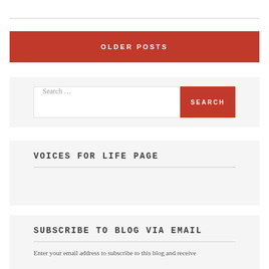OLDER POSTS
Search ...
VOICES FOR LIFE PAGE
SUBSCRIBE TO BLOG VIA EMAIL
Enter your email address to subscribe to this blog and receive